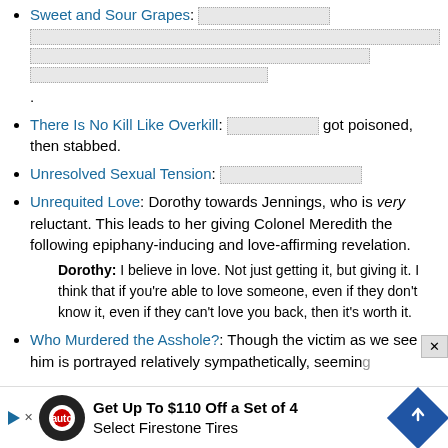Sweet and Sour Grapes: [input fields]
There Is No Kill Like Overkill: [input] got poisoned, then stabbed.
Unresolved Sexual Tension: [input]
Unrequited Love: Dorothy towards Jennings, who is very reluctant. This leads to her giving Colonel Meredith the following epiphany-inducing and love-affirming revelation.
Dorothy: I believe in love. Not just getting it, but giving it. I think that if you're able to love someone, even if they don't know it, even if they can't love you back, then it's worth it.
Who Murdered the Asshole?: Though the victim as we see him is portrayed relatively sympathetically, seeming
Get Up To $110 Off a Set of 4 Select Firestone Tires